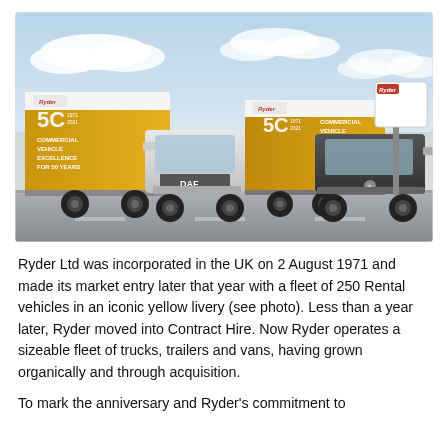[Figure (photo): Two Ryder commercial trucks with gold '50 years 1971-2021 Commercial Vehicle Excellence for 50 Years' livery parked in front of a Ryder sign. A DAF truck on the left and a Mercedes-Benz truck on the right.]
Ryder Ltd was incorporated in the UK on 2 August 1971 and made its market entry later that year with a fleet of 250 Rental vehicles in an iconic yellow livery (see photo). Less than a year later, Ryder moved into Contract Hire. Now Ryder operates a sizeable fleet of trucks, trailers and vans, having grown organically and through acquisition.
To mark the anniversary and Ryder's commitment to